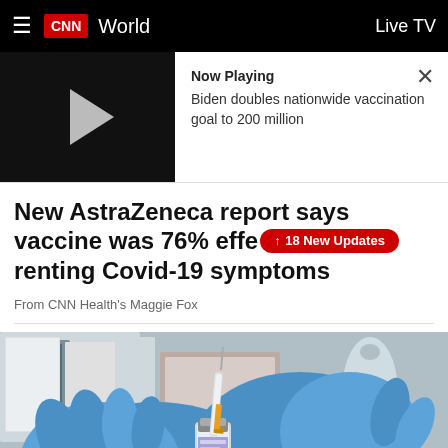CNN World  Live TV
[Figure (screenshot): Video player showing 'Now Playing: Biden doubles nationwide vaccination goal to 200 million' with play button on black background and close X button]
New AstraZeneca report says vaccine was 76% effective at preventing Covid-19 symptoms
18 New Updates
From CNN Health's Maggie Fox
[Figure (photo): Close-up photo of blue-gloved hands holding a syringe and vaccine vial, drawing up AstraZeneca vaccine]